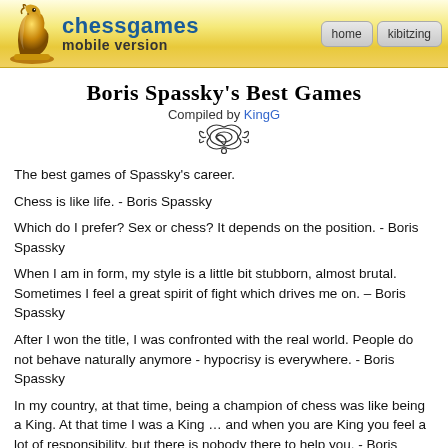chessgames mobile version | home | kibitzing
Boris Spassky's Best Games
Compiled by KingG
The best games of Spassky's career.
Chess is like life. - Boris Spassky
Which do I prefer? Sex or chess? It depends on the position. - Boris Spassky
When I am in form, my style is a little bit stubborn, almost brutal. Sometimes I feel a great spirit of fight which drives me on. – Boris Spassky
After I won the title, I was confronted with the real world. People do not behave naturally anymore - hypocrisy is everywhere. - Boris Spassky
In my country, at that time, being a champion of chess was like being a King. At that time I was a King … and when you are King you feel a lot of responsibility, but there is nobody there to help you. - Boris Spassky
I don't want ever to be champion again. - Boris Spassky